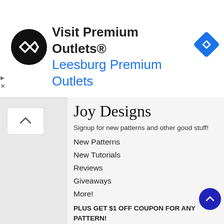[Figure (logo): Premium Outlets ad banner with circular black logo, 'Visit Premium Outlets®' title text, 'Leesburg Premium Outlets' subtitle in blue, and a blue diamond navigation icon on the right]
Joy Designs
Signup for new patterns and other good stuff!
New Patterns
New Tutorials
Reviews
Giveaways
More!
PLUS GET $1 OFF COUPON FOR ANY PATTERN!